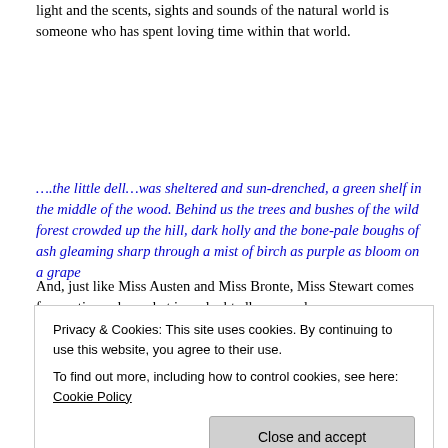light and the scents, sights and sounds of the natural world is someone who has spent loving time within that world.
….the little dell…was sheltered and sun-drenched, a green shelf in the middle of the wood. Behind us the trees and bushes of the wild forest crowded up the hill, dark holly and the bone-pale boughs of ash gleaming sharp through a mist of birch as purple as bloom on a grape
And, just like Miss Austen and Miss Bronte, Miss Stewart comes from a time when what is undoubtedly sex and
Privacy & Cookies: This site uses cookies. By continuing to use this website, you agree to their use.
To find out more, including how to control cookies, see here: Cookie Policy
anatomical diagram.